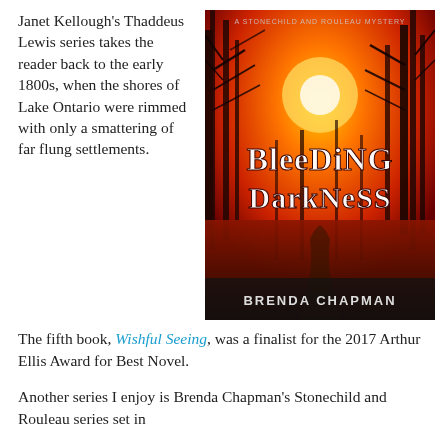Janet Kellough's Thaddeus Lewis series takes the reader back to the early 1800s, when the shores of Lake Ontario were rimmed with only a smattering of far flung settlements. The fifth book, Wishful Seeing, was a finalist for the 2017 Arthur Ellis Award for Best Novel.
[Figure (illustration): Book cover of 'Bleeding Darkness' by Brenda Chapman. A Stone Child and Rouleau Mystery. Dark atmospheric forest scene with fiery red/orange sky and bare trees, with a path leading through. Large stylized text reads 'Bleeding Darkness' and author name 'Brenda Chapman' at the bottom.]
Another series I enjoy is Brenda Chapman's Stonechild and Rouleau series set in